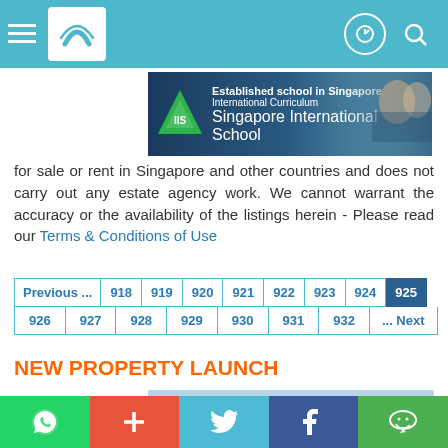Navigation bar with menu, logo, and icons
[Figure (illustration): Advertisement banner for an established school in Singapore with International Curriculum, showing a triangle logo and people in background]
for sale or rent in Singapore and other countries and does not carry out any estate agency work. We cannot warrant the accuracy or the availability of the listings herein - Please read our Terms & Conditions of Use
Pagination: Previous ... 918 919 920 921 922 923 924 925 (current) 926 927 928 929 930 931 932 ... Next
NEW PROPERTY LAUNCH
[Figure (photo): Photo of a new property/condominium development showing a modern building with balconies and lush greenery at the entrance]
Bottom social bar with WhatsApp, plus, Twitter, Facebook, WeChat icons